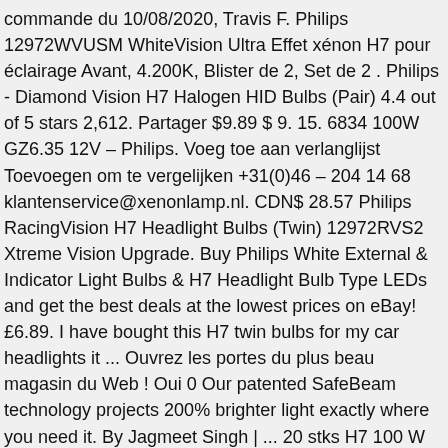commande du 10/08/2020, Travis F. Philips 12972WVUSM WhiteVision Ultra Effet xénon H7 pour éclairage Avant, 4.200K, Blister de 2, Set de 2 . Philips - Diamond Vision H7 Halogen HID Bulbs (Pair) 4.4 out of 5 stars 2,612. Partager $9.89 $ 9. 15. 6834 100W GZ6.35 12V – Philips. Voeg toe aan verlanglijst Toevoegen om te vergelijken +31(0)46 – 204 14 68 klantenservice@xenonlamp.nl. CDN$ 28.57 Philips RacingVision H7 Headlight Bulbs (Twin) 12972RVS2 Xtreme Vision Upgrade. Buy Philips White External & Indicator Light Bulbs & H7 Headlight Bulb Type LEDs and get the best deals at the lowest prices on eBay! £6.89. I have bought this H7 twin bulbs for my car headlights it ... Ouvrez les portes du plus beau magasin du Web ! Oui 0 Our patented SafeBeam technology projects 200% brighter light exactly where you need it. By Jagmeet Singh | ... 20 stks H7 100 W 12 V Super Bright White Mistlampen Halogeen lampen High Power Auto Koplampen Lamp Auto Lichtbron parking 6000 K. ... Philips koplamp H7 White Vision 55W. Product security. Stronger. 23W = 100W Bright White (5000K) Mini Twister CFL Light Bulb (4-Pack) Help reduce your energy